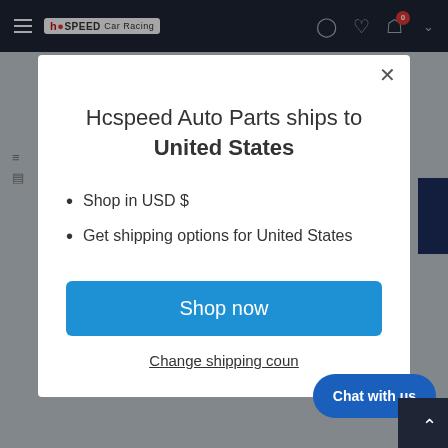[Figure (screenshot): Website navigation bar with hamburger menu, Hcspeed Car Racing logo, and icons for user account, wishlist, and shopping cart with badge showing 0]
Hcspeed Auto Parts ships to
United States
Shop in USD $
Get shipping options for United States
Shop now
Change shipping country